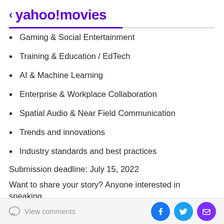< yahoo!movies
Gaming & Social Entertainment
Training & Education / EdTech
AI & Machine Learning
Enterprise & Workplace Collaboration
Spatial Audio & Near Field Communication
Trends and innovations
Industry standards and best practices
Submission deadline: July 15, 2022
Want to share your story? Anyone interested in speaking
View comments